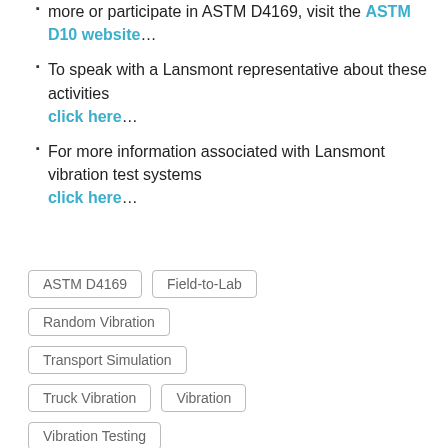more or participate in ASTM D4169, visit the ASTM D10 website…
To speak with a Lansmont representative about these activities click here…
For more information associated with Lansmont vibration test systems click here…
ASTM D4169 | Field-to-Lab | Random Vibration | Transport Simulation | Truck Vibration | Vibration | Vibration Testing